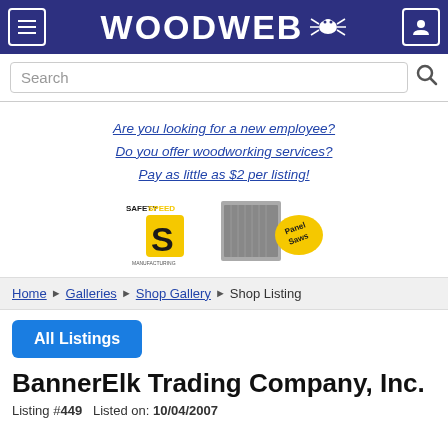WOODWEB
Are you looking for a new employee?
Do you offer woodworking services?
Pay as little as $2 per listing!
[Figure (logo): Safety Speed Manufacturing – Panel Saws advertisement banner]
Home › Galleries › Shop Gallery › Shop Listing
All Listings
BannerElk Trading Company, Inc.
Listing #449   Listed on: 10/04/2007